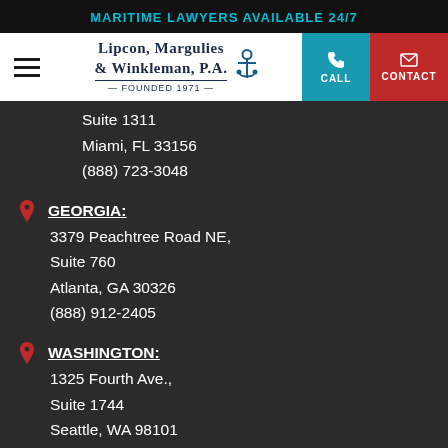MARITIME LAWYERS AVAILABLE 24/7
[Figure (logo): Lipcon, Margulies & Winkleman, P.A. Founded 1971 law firm logo with anchor icon, plus CALL and CONTACT navigation buttons]
Suite 1311
Miami, FL 33156
(888) 723-3048
GEORGIA:
3379 Peachtree Road NE,
Suite 760
Atlanta, GA 30326
(888) 912-2405
WASHINGTON:
1325 Fourth Ave.,
Suite 1744
Seattle, WA 98101
(877) 657-9426